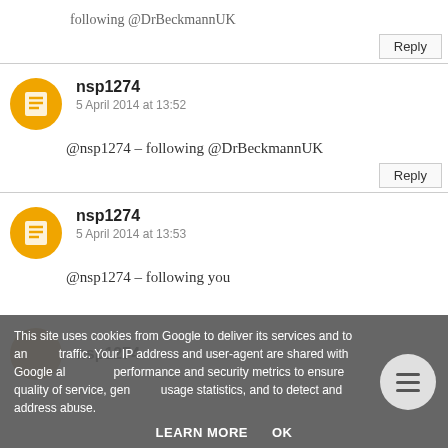following @DrBeckmannUK
Reply
nsp1274
5 April 2014 at 13:52
@nsp1274 - following @DrBeckmannUK
Reply
nsp1274
5 April 2014 at 13:53
@nsp1274 - following you
This site uses cookies from Google to deliver its services and to analyse traffic. Your IP address and user-agent are shared with Google along with performance and security metrics to ensure quality of service, generate usage statistics, and to detect and address abuse.
LEARN MORE
OK
nsp1274